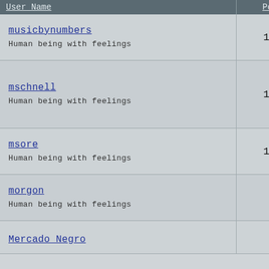| User Name | Posts |
| --- | --- |
| musicbynumbers
Human being with feelings | 13,87 |
| mschnell
Human being with feelings | 11,97 |
| msore
Human being with feelings | 11,56 |
| morgon
Human being with feelings | 9,40 |
| Mercado Negro
 | 8,52 |